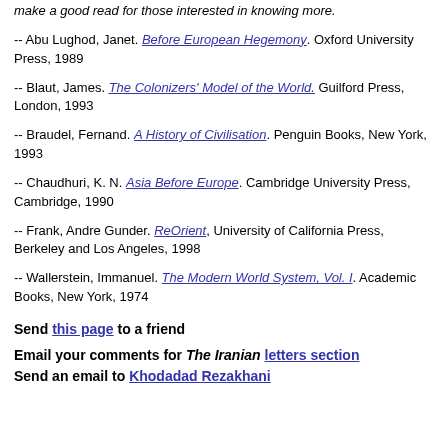make a good read for those interested in knowing more.
-- Abu Lughod, Janet. Before European Hegemony. Oxford University Press, 1989
-- Blaut, James. The Colonizers' Model of the World. Guilford Press, London, 1993
-- Braudel, Fernand. A History of Civilisation. Penguin Books, New York, 1993
-- Chaudhuri, K. N. Asia Before Europe. Cambridge University Press, Cambridge, 1990
-- Frank, Andre Gunder. ReOrient, University of California Press, Berkeley and Los Angeles, 1998
-- Wallerstein, Immanuel. The Modern World System, Vol. I. Academic Books, New York, 1974
Send this page to a friend
Email your comments for The Iranian letters section
Send an email to Khodadad Rezakhani